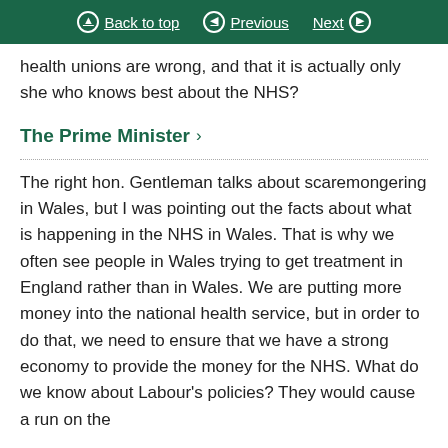Back to top | Previous | Next
health unions are wrong, and that it is actually only she who knows best about the NHS?
The Prime Minister
The right hon. Gentleman talks about scaremongering in Wales, but I was pointing out the facts about what is happening in the NHS in Wales. That is why we often see people in Wales trying to get treatment in England rather than in Wales. We are putting more money into the national health service, but in order to do that, we need to ensure that we have a strong economy to provide the money for the NHS. What do we know about Labour's policies? They would cause a run on the